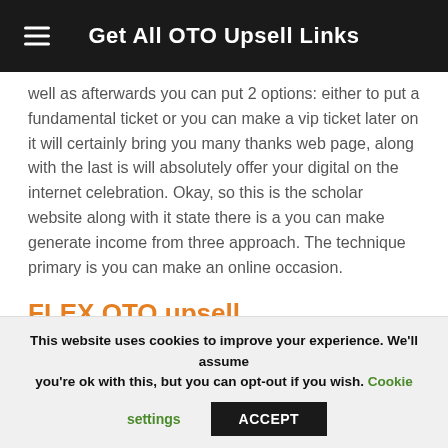Get All OTO Upsell Links
well as afterwards you can put 2 options: either to put a fundamental ticket or you can make a vip ticket later on it will certainly bring you many thanks web page, along with the last is will absolutely offer your digital on the internet celebration. Okay, so this is the scholar website along with it state there is a you can make generate income from three approach. The technique primary is you can make an online occasion.
FLEX OTO upsell
Giveaway you can produce leads with with absolutely complimentary digital occasions. Revenue enter secondly is
This website uses cookies to improve your experience. We'll assume you're ok with this, but you can opt-out if you wish. Cookie settings ACCEPT